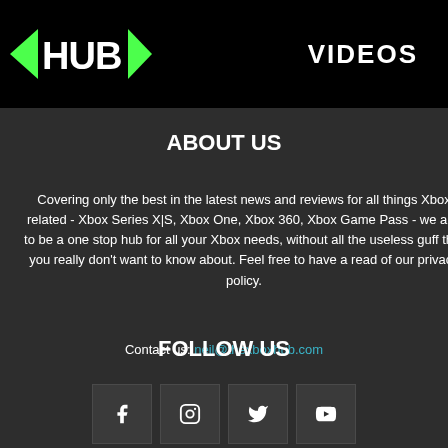[Figure (logo): Xbox HUB logo with green arrow graphics on black background, with VIDEOS text on the right]
ABOUT US
Covering only the best in the latest news and reviews for all things Xbox related - Xbox Series X|S, Xbox One, Xbox 360, Xbox Game Pass - we aim to be a one stop hub for all your Xbox needs, without all the useless guff that you really don't want to know about. Feel free to have a read of our privacy policy.
Contact us: neil@thexboxhub.com
FOLLOW US
[Figure (illustration): Four social media icon boxes: Facebook (f), Instagram (camera), Twitter (bird), YouTube (play button)]